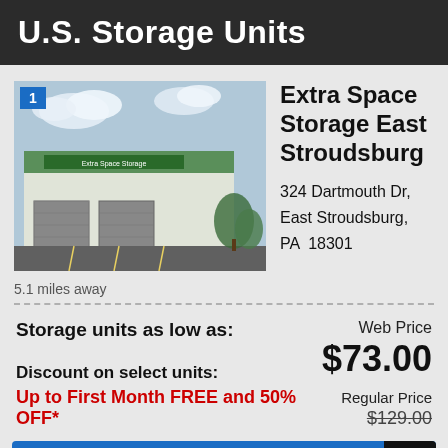U.S. Storage Units
[Figure (photo): Exterior photo of Extra Space Storage facility in East Stroudsburg, a white and green commercial building with parking lot]
Extra Space Storage East Stroudsburg
324 Dartmouth Dr, East Stroudsburg, PA 18301
5.1 miles away
Storage units as low as:
Web Price $73.00
Discount on select units:
Up to First Month FREE and 50% OFF*
Regular Price $129.00
Click here to View all Units, Reserve FREE